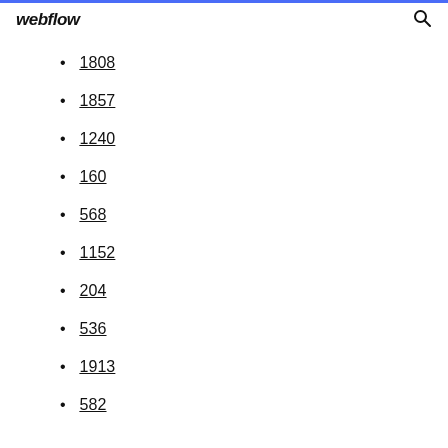webflow
1808
1857
1240
160
568
1152
204
536
1913
582